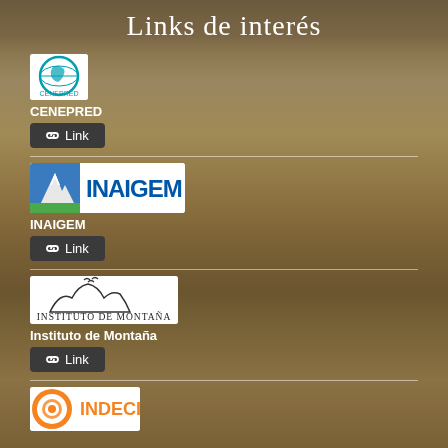Links de interés
[Figure (logo): CENEPRED logo - circular emblem with Peru map and chain links]
CENEPRED
Link
[Figure (logo): INAIGEM logo - mountain peaks with blue text INAIGEM]
INAIGEM
Link
[Figure (logo): Instituto de Montaña logo - mountain silhouette with text Instituto de Montaña]
Instituto de Montaña
Link
[Figure (logo): INDECI logo - orange circular emblem with text INDECI]